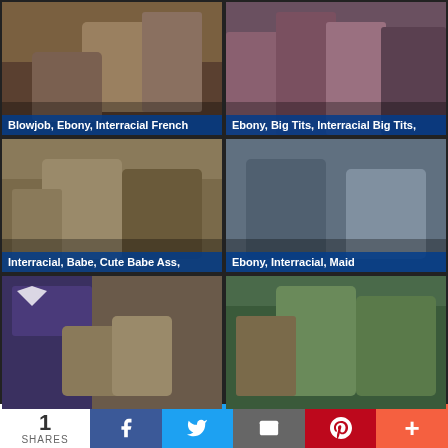[Figure (photo): Thumbnail image 1 - vintage scene with two women indoors]
Blowjob, Ebony, Interracial French
[Figure (photo): Thumbnail image 2 - group of women posing]
Ebony, Big Tits, Interracial Big Tits,
[Figure (photo): Thumbnail image 3 - vintage interracial scene on couch]
Interracial, Babe, Cute Babe Ass,
[Figure (photo): Thumbnail image 4 - two people seated indoors]
Ebony, Interracial, Maid
[Figure (photo): Thumbnail image 5 - flag backdrop scene with man and woman]
[Figure (photo): Thumbnail image 6 - vintage scene]
1 SHARES  [Facebook] [Twitter] [Email] [Pinterest] [More]